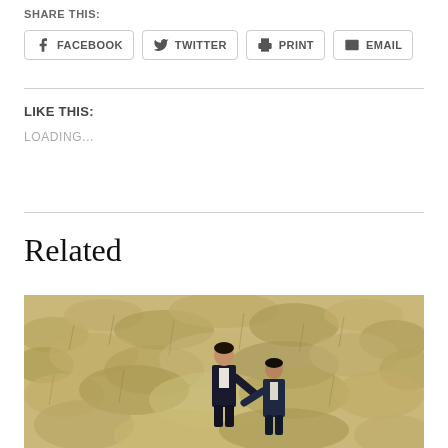SHARE THIS:
FACEBOOK  TWITTER  PRINT  EMAIL
LIKE THIS:
LOADING...
Related
[Figure (photo): Two men in dark suits walking through a field of tall dry grass, one reaching back to the other]